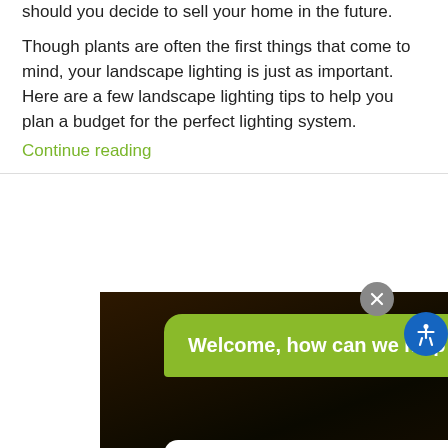should you decide to sell your home in the future.
Though plants are often the first things that come to mind, your landscape lighting is just as important. Here are a few landscape lighting tips to help you plan a budget for the perfect lighting system.
Continue reading
[Figure (screenshot): Chat widget overlay on a dark nighttime outdoor/landscape photo background. Shows a green speech bubble with 'Welcome, how can we help you?' and a white input area with placeholder text 'Write your message...' and a send button. There is a close (X) button and an accessibility button (person icon in blue circle).]